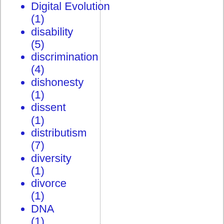Digital Evolution (1)
disability (5)
discrimination (4)
dishonesty (1)
dissent (1)
distributism (7)
diversity (1)
divorce (1)
DNA (1)
doctrine (1)
Dominion (1)
Dominique Strauss-Kahn